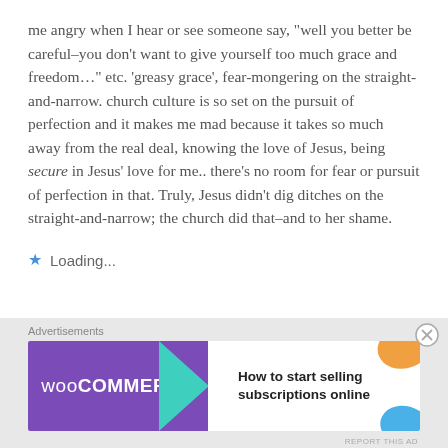me angry when I hear or see someone say, "well you better be careful–you don't want to give yourself too much grace and freedom…" etc. 'greasy grace', fear-mongering on the straight-and-narrow. church culture is so set on the pursuit of perfection and it makes me mad because it takes so much away from the real deal, knowing the love of Jesus, being secure in Jesus' love for me.. there's no room for fear or pursuit of perfection in that. Truly, Jesus didn't dig ditches on the straight-and-narrow; the church did that–and to her shame.
Loading...
[Figure (screenshot): WooCommerce advertisement banner with purple background on left showing WooCommerce logo with teal arrow, and white right side showing 'How to start selling subscriptions online' text with orange and blue decorative shapes]